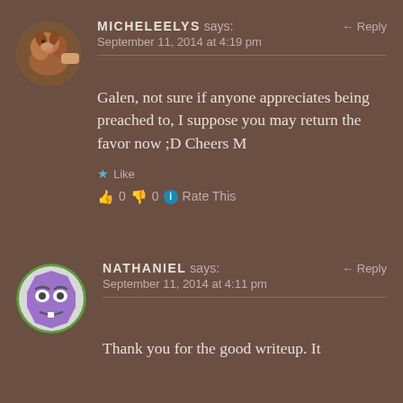[Figure (photo): Circular avatar showing a dog (brown/tan) being held]
MICHELEELYS says: ↵ Reply
September 11, 2014 at 4:19 pm
Galen, not sure if anyone appreciates being preached to, I suppose you may return the favor now ;D Cheers M
★ Like
👍 0 👎 0 ℹ Rate This
[Figure (illustration): Circular avatar showing a cartoon purple face emoji character on octagonal shape with green border]
NATHANIEL says: ↵ Reply
September 11, 2014 at 4:11 pm
Thank you for the good writeup. It